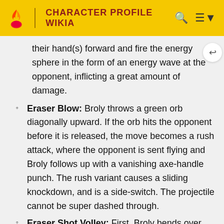CHARACTER PROFILE WIKIA
their hand(s) forward and fire the energy sphere in the form of an energy wave at the opponent, inflicting a great amount of damage.
Eraser Blow: Broly throws a green orb diagonally upward. If the orb hits the opponent before it is released, the move becomes a rush attack, where the opponent is sent flying and Broly follows up with a vanishing axe-handle punch. The rush variant causes a sliding knockdown, and is a side-switch. The projectile cannot be super dashed through.
Eraser Shot Volley: First, Broly bends over slightly and charges an Eraser Cannon in his right hand. Then, he fires the attack and follows up by